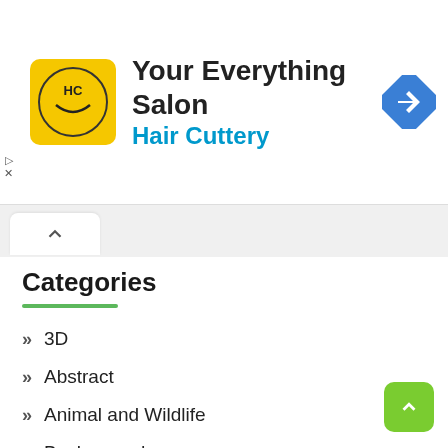[Figure (screenshot): Advertisement banner for Hair Cuttery salon with logo, text, and navigation icon]
Categories
3D
Abstract
Animal and Wildlife
Background
Biology
Business & Finance
Cartoon